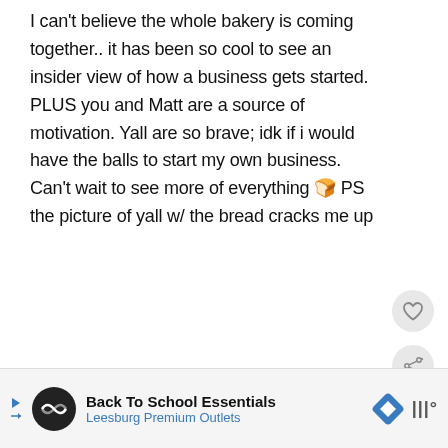I can't believe the whole bakery is coming together.. it has been so cool to see an insider view of how a business gets started. PLUS you and Matt are a source of motivation. Yall are so brave; idk if i would have the balls to start my own business. Can't wait to see more of everything 🍞 PS the picture of yall w/ the bread cracks me up
Reply
WHAT'S NEXT → The Start Of Thursday
Back To School Essentials Leesburg Premium Outlets